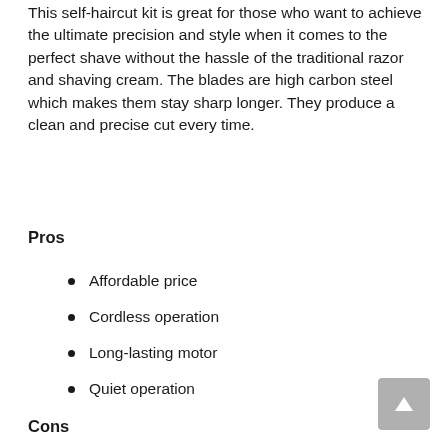This self-haircut kit is great for those who want to achieve the ultimate precision and style when it comes to the perfect shave without the hassle of the traditional razor and shaving cream. The blades are high carbon steel which makes them stay sharp longer. They produce a clean and precise cut every time.
Pros
Affordable price
Cordless operation
Long-lasting motor
Quiet operation
Cons